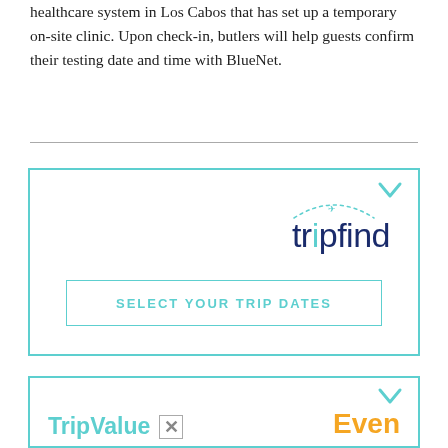healthcare system in Los Cabos that has set up a temporary on-site clinic. Upon check-in, butlers will help guests confirm their testing date and time with BlueNet.
[Figure (screenshot): Tripfind widget box with logo and SELECT YOUR TRIP DATES button, teal border with chevron]
[Figure (screenshot): TripValue and Even widget box with teal and orange text, teal border with chevron]